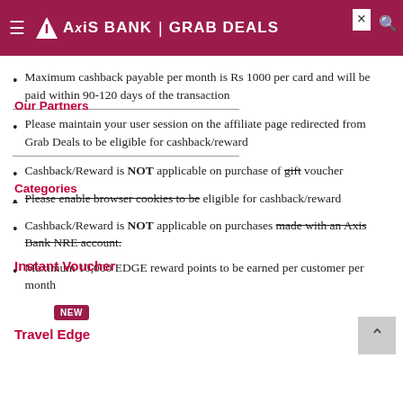AXIS BANK | GRAB DEALS
Maximum cashback payable per month is Rs 1000 per card and will be paid within 90-120 days of the transaction
Please maintain your user session on the affiliate page redirected from Grab Deals to be eligible for cashback/reward
Cashback/Reward is NOT applicable on purchase of gift voucher
Please enable browser cookies to be eligible for cashback/reward
Cashback/Reward is NOT applicable on purchases made with an Axis Bank NRE account.
Maximum 10,000 EDGE reward points to be earned per customer per month